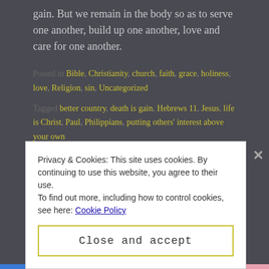gain. But we remain in the body so as to serve one another, build up one another, love and care for one another.
Posted in Bible, Christianity, church, faith, grace, holiness, love, Religion, sin, Uncategorized
Tagged better country, death is gain, Hebrews 11, Jesus, life is Christ, Paul, Philippians, putting others' interest above your own
Privacy & Cookies: This site uses cookies. By continuing to use this website, you agree to their use.
To find out more, including how to control cookies, see here: Cookie Policy
Close and accept